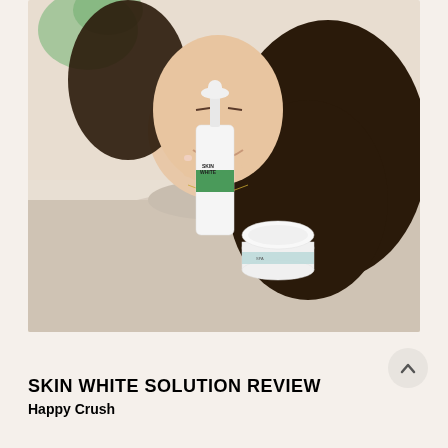[Figure (photo): A woman in a cream/beige sweater resting her chin on her hand, smiling, with long dark hair. In front of her on a white bedsheet are two skincare products: a white pump bottle with a green label band reading 'Skin White' and a small round white jar with a light blue label.]
SKIN WHITE SOLUTION REVIEW
Happy Crush